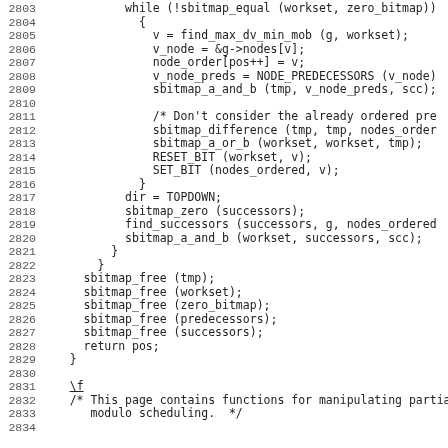[Figure (other): Source code listing (C language) lines 2803-2834, showing bitmap operations for a graph scheduling algorithm including while loop, sbitmap operations, find_max_dv_min_mob, NODE_PREDECESSORS, sbitmap_difference, sbitmap_a_or_b, RESET_BIT, SET_BIT, dir=TOPDOWN, sbitmap_zero, find_successors, sbitmap_a_and_b, sbitmap_free calls, return pos, closing brace, and a comment about partial modulo scheduling.]